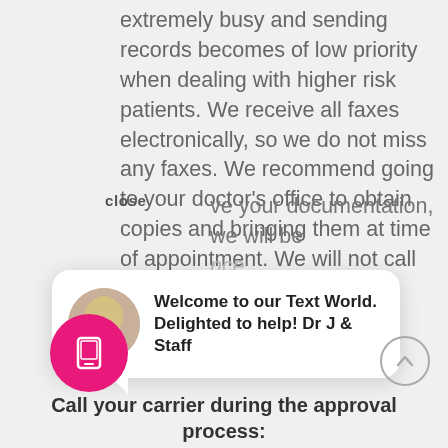extremely busy and sending records becomes of low priority when dealing with higher risk patients. We receive all faxes electronically, so we do not miss any faxes. We recommend going to your doctor's office to obtain copies and bringing them at time of appointment. We will not call your doctor's office to retrieve documentation. Once we have your documentation, we will be able to...
[Figure (screenshot): Chat popup with avatar photo of a blonde woman and text: 'Welcome to our Text World. Delighted to help! Dr J & Staff'. A 'close' label appears in bold to the left.]
[Figure (infographic): Pink circular button with a phone/tablet icon, and an up-arrow circle button to the right.]
Call your carrier during the approval process: